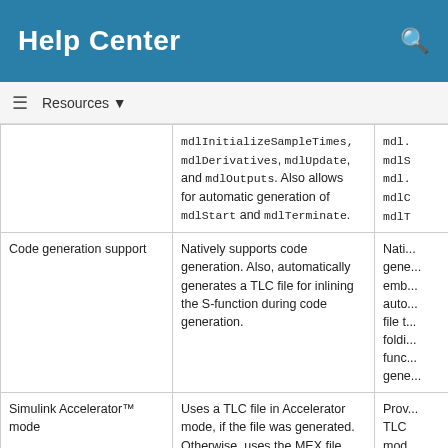Help Center
Resources ▼
|  | Column 2 | Column 3 |
| --- | --- | --- |
|  | mdlInitializeSampleTimes, mdlDerivatives, mdlUpdate, and mdlOutputs. Also allows for automatic generation of mdlStart and mdlTerminate. | mdl... mdlS mdl... mdlC mdlT |
| Code generation support | Natively supports code generation. Also, automatically generates a TLC file for inlining the S-function during code generation. | Nati... gene... emb... auto... file t... foldi... func... gene... |
| Simulink Accelerator™ mode | Uses a TLC file in Accelerator mode, if the file was generated. Otherwise, uses the MEX file. | Prov... TLC mod... |
| Model reference | Uses default behaviors when used in a referenced model. | Uses... used... |
| Simulink.AliasType | Does not support these classes. | Supp... |